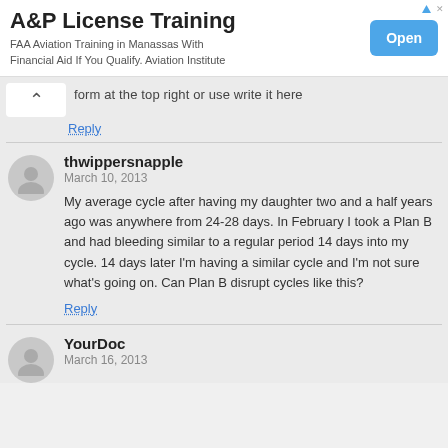[Figure (screenshot): Advertisement banner for A&P License Training. Title reads 'A&P License Training', subtitle reads 'FAA Aviation Training in Manassas With Financial Aid If You Qualify. Aviation Institute'. Blue 'Open' button on right.]
form at the top right or use write it here
Reply
thwippersnapple
March 10, 2013
My average cycle after having my daughter two and a half years ago was anywhere from 24-28 days. In February I took a Plan B and had bleeding similar to a regular period 14 days into my cycle. 14 days later I'm having a similar cycle and I'm not sure what's going on. Can Plan B disrupt cycles like this?
Reply
YourDoc
March 16, 2013